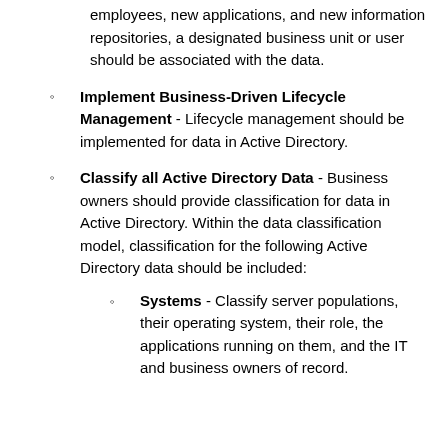employees, new applications, and new information repositories, a designated business unit or user should be associated with the data.
Implement Business-Driven Lifecycle Management - Lifecycle management should be implemented for data in Active Directory.
Classify all Active Directory Data - Business owners should provide classification for data in Active Directory. Within the data classification model, classification for the following Active Directory data should be included:
Systems - Classify server populations, their operating system, their role, the applications running on them, and the IT and business owners of record.